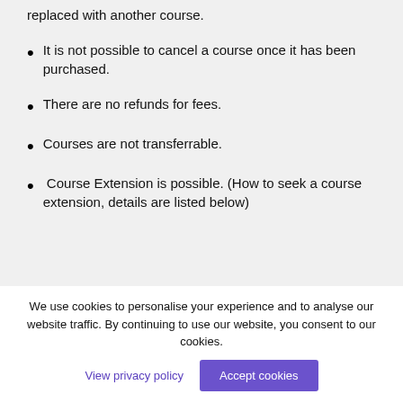replaced with another course.
It is not possible to cancel a course once it has been purchased.
There are no refunds for fees.
Courses are not transferrable.
Course Extension is possible. (How to seek a course extension, details are listed below)
We use cookies to personalise your experience and to analyse our website traffic. By continuing to use our website, you consent to our cookies.
View privacy policy
Accept cookies